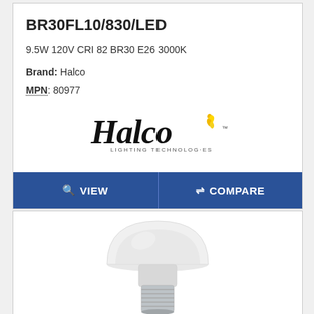BR30FL10/830/LED
9.5W 120V CRI 82 BR30 E26 3000K
Brand: Halco
MPN: 80977
[Figure (logo): Halco Lighting Technologies logo in black italic serif font with gold flame accent]
VIEW
COMPARE
[Figure (photo): BR30 LED light bulb with white dome and silver screw base, shown from a slight angle]